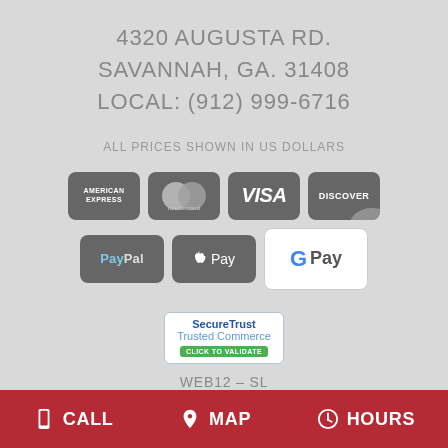4320 AUGUSTA RD.
SAVANNAH, GA. 31408
LOCAL: (912) 999-6716
ALL PRICES SHOWN IN US DOLLARS
[Figure (logo): Payment method icons: American Express, Mastercard, Visa, Discover, PayPal, Apple Pay, Google Pay]
[Figure (logo): SecureTrust Trusted Commerce badge with CLICK TO VALIDATE button]
WEB12-SL
CALL  MAP  HOURS